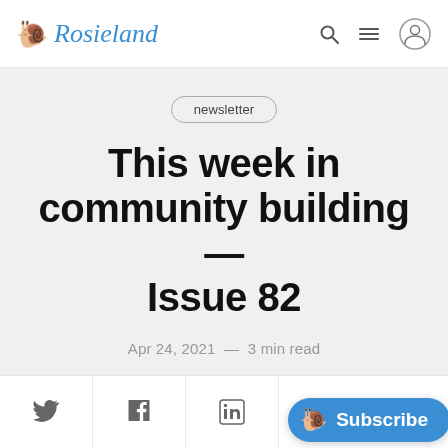🐌 Rosieland
newsletter
This week in community building — Issue 82
Apr 24, 2021  —  3 min read
[Figure (other): Social share icons bar: Twitter, Facebook, LinkedIn, Email; with Subscribe button]
Subscribe